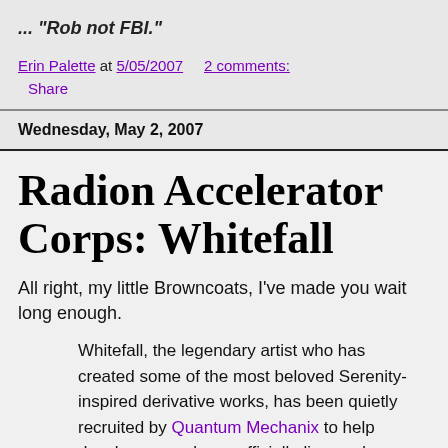... "Rob not FBI."
Erin Palette at 5/05/2007   2 comments:
Share
Wednesday, May 2, 2007
Radion Accelerator Corps: Whitefall
All right, my little Browncoats, I've made you wait long enough.
Whitefall, the legendary artist who has created some of the most beloved Serenity-inspired derivative works, has been quietly recruited by Quantum Mechanix to help develop several new officially-licensed Serenity prop replicas. Expect